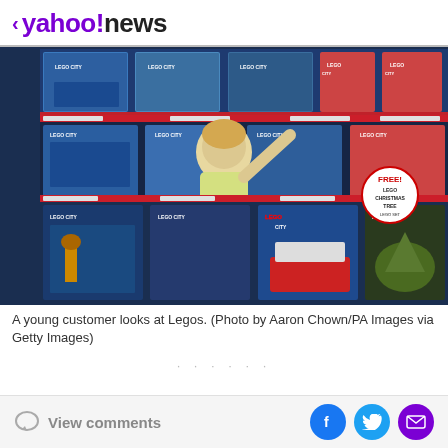< yahoo!news
[Figure (photo): A young boy in a yellow shirt reaching up to look at LEGO City sets on store shelves. Multiple rows of LEGO boxes are visible with red shelf labels. A 'FREE! LEGO Christmas Tree LEGO Set' sign is visible on the right.]
A young customer looks at Legos. (Photo by Aaron Chown/PA Images via Getty Images)
· · · · · ·
View comments